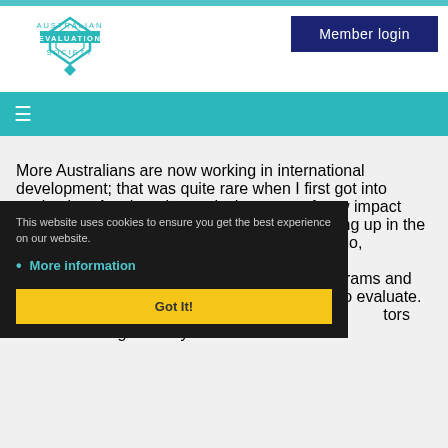[Figure (logo): Australian Evaluation Society logo with teal diamond/hexagon shape and text]
Member login
[Figure (infographic): Teal navigation bar with hamburger menu icon]
More Australians are now working in international development; that was quite rare when I first got into evaluation. Another change is the range of new impact evaluation methods which we have seen coming up in the last 10 years. I've also noticed that 25 years ago, [text partially obscured] considered to [text partially obscured] ment, [text partially obscured] grams and [text partially obscured] were [text partially obscured] o evaluate. [text partially obscured] hink that the [text partially obscured] tors has evolved significantly over time.
This website uses cookies to ensure you get the best experience on our website.
More information
Got It!